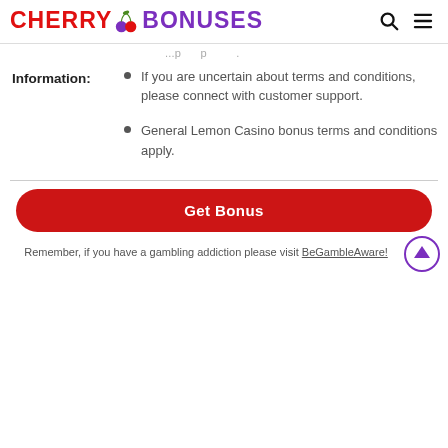CHERRY BONUSES
(partial text visible at top)
Information:
If you are uncertain about terms and conditions, please connect with customer support.
General Lemon Casino bonus terms and conditions apply.
Get Bonus
Remember, if you have a gambling addiction please visit BeGambleAware!